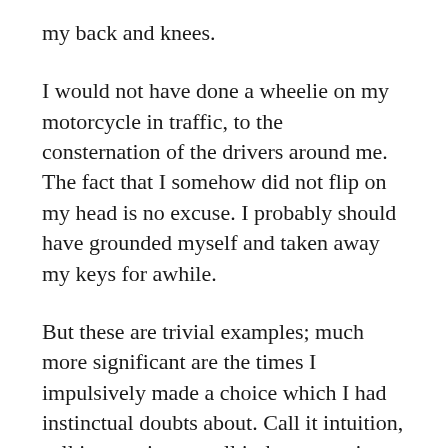my back and knees.
I would not have done a wheelie on my motorcycle in traffic, to the consternation of the drivers around me. The fact that I somehow did not flip on my head is no excuse. I probably should have grounded myself and taken away my keys for awhile.
But these are trivial examples; much more significant are the times I impulsively made a choice which I had instinctual doubts about. Call it intuition, call it conscience, call it the promptings of the Spirit or all three—in that tense present my life would have been better had I listened, as would the lives of the people I affected. And afterward, if I had reflected on why I found that way attractive, I might have at least seen the symptoms in time to